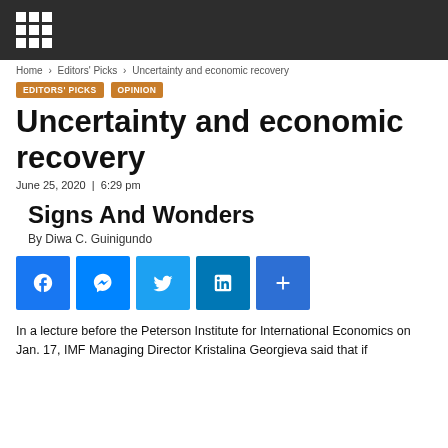Home > Editors' Picks > Uncertainty and economic recovery
EDITORS' PICKS   OPINION
Uncertainty and economic recovery
June 25, 2020 | 6:29 pm
Signs And Wonders
By Diwa C. Guinigundo
[Figure (other): Social media share buttons: Facebook, Messenger, Twitter, LinkedIn, More]
In a lecture before the Peterson Institute for International Economics on Jan. 17, IMF Managing Director Kristalina Georgieva said that if